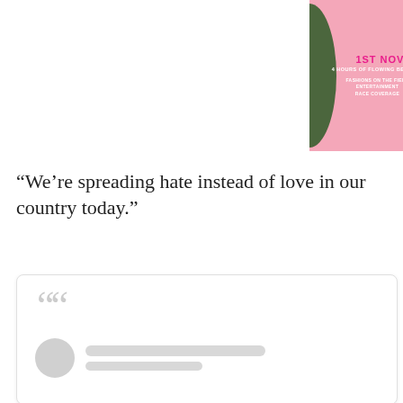[Figure (infographic): Pink banner with tropical leaf decorations on the sides. Text reads: '1ST NOVEMBER 2022', '4 HOURS OF FLOWING BEVERAGES & DELICIOUS CANAPES', left column: 'FASHIONS ON THE FIELD', 'ENTERTAINMENT', 'RACE COVERAGE'; right column: 'ROAMING PERFORMERS', 'STADIUM SCREEN', 'SWEEPS & PRIZES']
“We’re spreading hate instead of love in our country today.”
[Figure (screenshot): A social media post card with a large grey quotation mark at the top left, a circular grey avatar placeholder, and two grey redacted text lines representing a username and handle.]